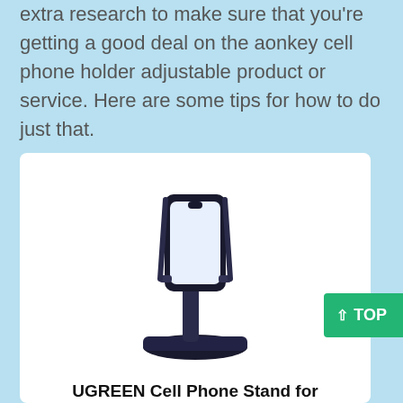extra research to make sure that you're getting a good deal on the aonkey cell phone holder adjustable product or service. Here are some tips for how to do just that.
[Figure (photo): A black adjustable desktop cell phone stand/holder with a telescoping arm and wide base, holding a smartphone]
UGREEN Cell Phone Stand for